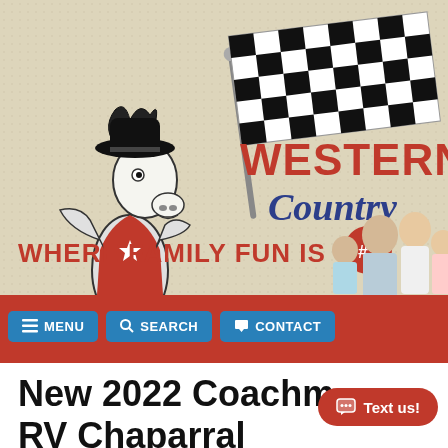[Figure (logo): Western R.V. Country logo featuring a cartoon cowboy horse mascot holding a checkered racing flag, with bold red text 'WESTERN R.V.' and blue script 'Country' on a beige textured background. Tagline 'WHERE FAMILY FUN IS #1' in red bold text with a red circle badge. A family photo (man, woman, two children) on the right side.]
[Figure (screenshot): Navigation bar with three blue buttons: MENU (hamburger icon), SEARCH (magnifying glass icon), CONTACT (phone icon), on a red background.]
New 2022 Coachmen RV Chaparral